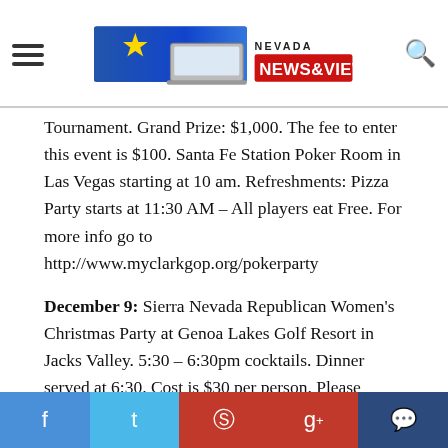NEVADA NEWS&VIEWS
Tournament. Grand Prize: $1,000. The fee to enter this event is $100. Santa Fe Station Poker Room in Las Vegas starting at 10 am. Refreshments: Pizza Party starts at 11:30 AM – All players eat Free. For more info go to http://www.myclarkgop.org/pokerparty
December 9: Sierra Nevada Republican Women's Christmas Party at Genoa Lakes Golf Resort in Jacks Valley. 5:30 – 6:30pm cocktails. Dinner served at 6:30. Cost is $30 per person. Please RSVP by Dec. 1st to: Nancy Jarvis @ nancyjarvis@charter.net or 775.267.6937
January 8: First Friday Happy Hour Brewhaha (we
f  t  p  g+  chat